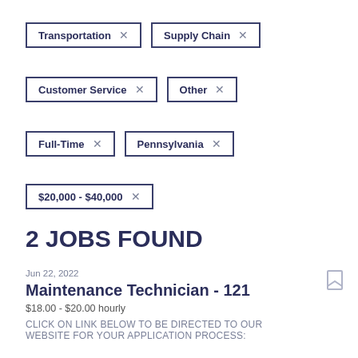Transportation ×
Supply Chain ×
Customer Service ×
Other ×
Full-Time ×
Pennsylvania ×
$20,000 - $40,000 ×
2 JOBS FOUND
Jun 22, 2022
Maintenance Technician - 121
$18.00 - $20.00 hourly
CLICK ON LINK BELOW TO BE DIRECTED TO OUR WEBSITE FOR YOUR APPLICATION PROCESS: